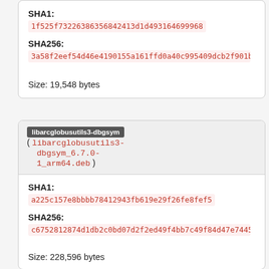SHA1: 1f525f73226386356842413d1d493164699968
SHA256: 3a58f2eef54d46e4190155a161ffd0a40c995409dcb2f901b14c4e0
Size: 19,548 bytes
libarcglobusutils3-dbgsym ( libarcglobusutils3-dbgsym_6.7.0-1_arm64.deb )
SHA1: a225c157e8bbbb78412943fb619e29f26fe8fef5
SHA256: c6752812874d1db2c0bd07d2f2ed49f4bb7c49f84d47e7445644a49
Size: 228,596 bytes